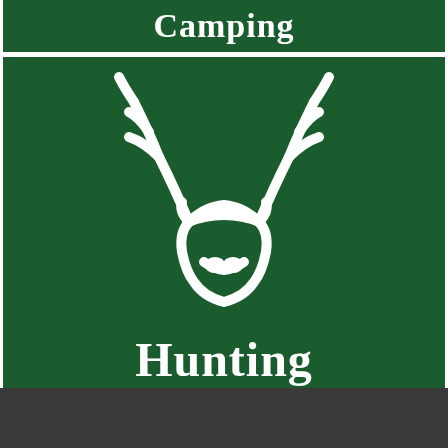Camping
[Figure (illustration): White outline icon of a deer/elk head with large antlers on a dark green background, with the word Hunting below]
Hunting